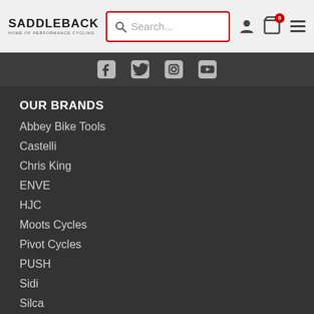SADDLEBACK – Home of Performance Cycling
OUR BRANDS
Abbey Bike Tools
Castelli
Chris King
ENVE
HJC
Moots Cycles
Pivot Cycles
PUSH
Sidi
Silca
Sportful